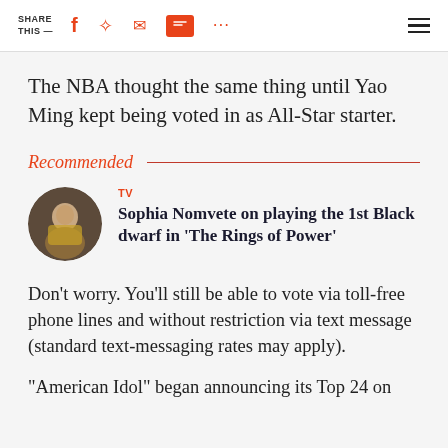SHARE THIS —
The NBA thought the same thing until Yao Ming kept being voted in as All-Star starter.
Recommended
[Figure (photo): Circular thumbnail of Sophia Nomvete]
TV
Sophia Nomvete on playing the 1st Black dwarf in 'The Rings of Power'
Don't worry. You'll still be able to vote via toll-free phone lines and without restriction via text message (standard text-messaging rates may apply).
"American Idol" began announcing its Top 24 on